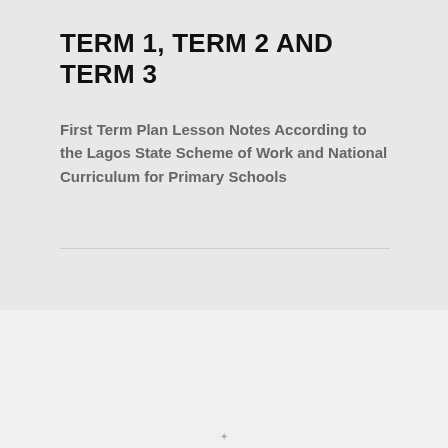TERM 1, TERM 2 AND TERM 3
First Term Plan Lesson Notes According to the Lagos State Scheme of Work and National Curriculum for Primary Schools